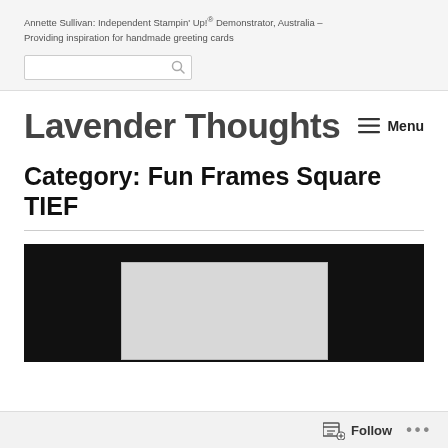Annette Sullivan: Independent Stampin' Up!® Demonstrator, Australia – Providing inspiration for handmade greeting cards
Lavender Thoughts
Category: Fun Frames Square TIEF
[Figure (photo): A card craft photo showing a white/light grey card on a dark/black background, partially visible at the bottom of the page.]
Follow